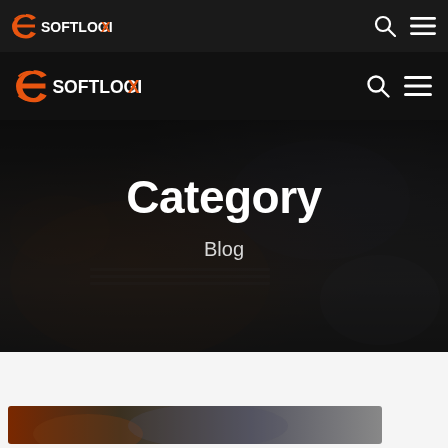eSoftLogiX (top navigation bar)
eSoftLogiX (main navigation bar)
[Figure (screenshot): Dark hero section with blurred laptop/desk background image, overlaid with dark semi-transparent layer]
Category
Blog
[Figure (photo): Partial view of a person working, bottom of page image strip]